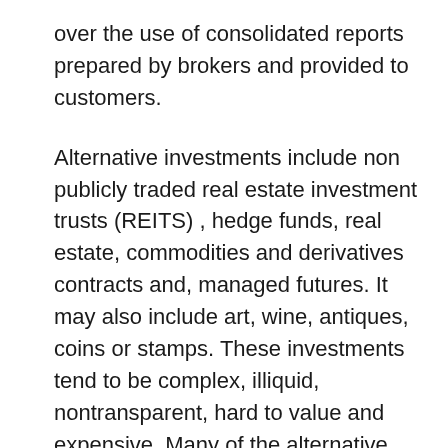over the use of consolidated reports prepared by brokers and provided to customers.
Alternative investments include non publicly traded real estate investment trusts (REITS) , hedge funds, real estate, commodities and derivatives contracts and, managed futures. It may also include art, wine, antiques, coins or stamps. These investments tend to be complex, illiquid, nontransparent, hard to value and expensive. Many of the alternative investments sold over recent years are not traded on any public market making them difficult to value and even more difficult to liquidate if cash is needed.